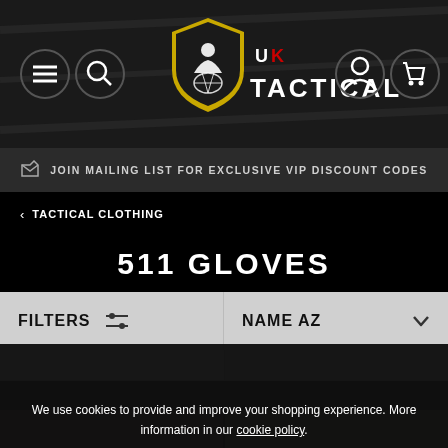[Figure (screenshot): UK Tactical website header with navigation icons (hamburger menu, search), UK Tactical shield logo, and account/cart icons on dark textured background]
JOIN MAILING LIST FOR EXCLUSIVE VIP DISCOUNT CODES
< TACTICAL CLOTHING
511 GLOVES
FILTERS   NAME AZ
We use cookies to provide and improve your shopping experience. More information in our cookie policy.
ACCEPT COOKIES